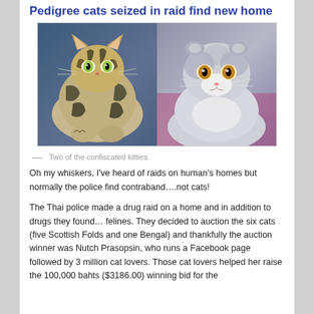Pedigree cats seized in raid find new home
[Figure (photo): Two photos of cats side by side: left is a Bengal cat with striking black and silver tabby stripes lying down; right is a gray and white Scottish Fold cat looking at camera.]
— Two of the confiscated kitties
Oh my whiskers, I've heard of raids on human's homes but normally the police find contraband….not cats!
The Thai police made a drug raid on a home and in addition to drugs they found… felines. They decided to auction the six cats (five Scottish Folds and one Bengal) and thankfully the auction winner was Nutch Prasopsin, who runs a Facebook page followed by 3 million cat lovers. Those cat lovers helped her raise the 100,000 bahts ($3186.00) winning bid for the